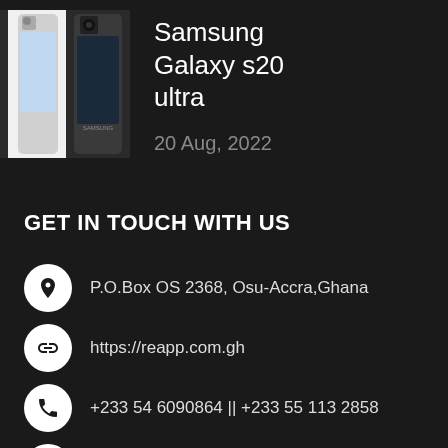[Figure (photo): Samsung Galaxy S20 Ultra smartphone product image shown at top left against dark background]
Samsung Galaxy s20 ultra
20 Aug, 2022
GET IN TOUCH WITH US
P.O.Box OS 2368, Osu-Accra,Ghana
https://reapp.com.gh
+233 54 6090864 || +233 55 113 2858
support@reapp.com.gh